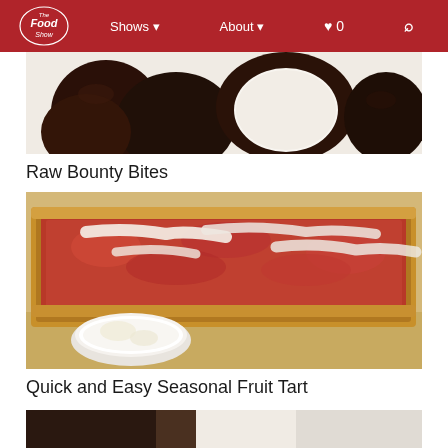The Food Show — navigation bar with Shows, About, heart icon, search icon
[Figure (photo): Partial view of chocolate-covered coconut bounty bites from above, showing dark chocolate coating with white coconut filling visible]
Raw Bounty Bites
[Figure (photo): Quick and Easy Seasonal Fruit Tart — flatbread or tart with tomato sauce and melted cheese/mozzarella, served with a small bowl of cream or yogurt on a wooden board]
Quick and Easy Seasonal Fruit Tart
[Figure (photo): Partial view of a third food item at bottom of page, appears to show chocolate item being cut or broken]